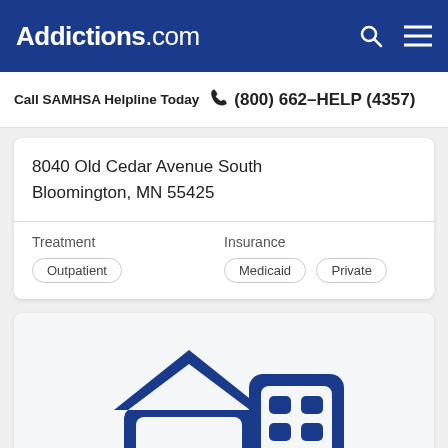Addictions.com
Call SAMHSA Helpline Today (800) 662-HELP (4357)
8040 Old Cedar Avenue South
Bloomington, MN 55425
Treatment
Outpatient
Insurance
Medicaid  Private
[Figure (illustration): Blue icon illustration of a house and a multi-story building with windows]